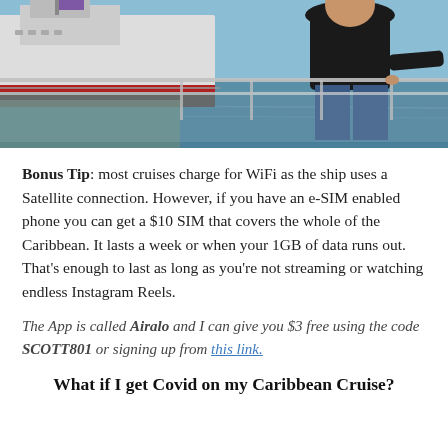[Figure (photo): Man in black t-shirt standing at a dock railing, looking at a large cruise ship with red and white hull in the background, blue water and sky visible]
Bonus Tip: most cruises charge for WiFi as the ship uses a Satellite connection. However, if you have an e-SIM enabled phone you can get a $10 SIM that covers the whole of the Caribbean. It lasts a week or when your 1GB of data runs out. That's enough to last as long as you're not streaming or watching endless Instagram Reels.
The App is called Airalo and I can give you $3 free using the code SCOTT801 or signing up from this link.
What if I get Covid on my Caribbean Cruise?